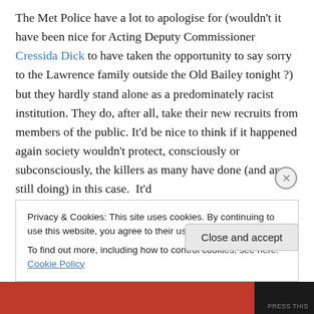The Met Police have a lot to apologise for (wouldn't it have been nice for Acting Deputy Commissioner Cressida Dick to have taken the opportunity to say sorry to the Lawrence family outside the Old Bailey tonight ?) but they hardly stand alone as a predominately racist institution. They do, after all, take their new recruits from members of the public. It'd be nice to think if it happened again society wouldn't protect, consciously or subconsciously, the killers as many have done (and are still doing) in this case.  It'd
Privacy & Cookies: This site uses cookies. By continuing to use this website, you agree to their use.
To find out more, including how to control cookies, see here: Cookie Policy